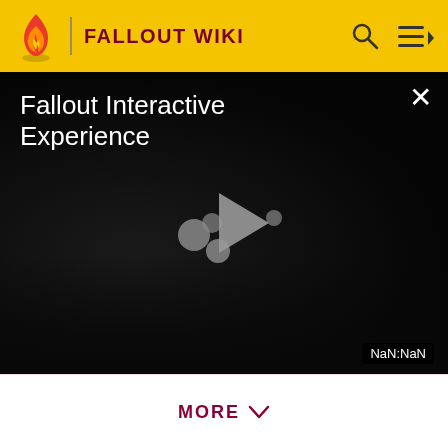FALLOUT WIKI
[Figure (screenshot): Video player overlay showing 'Fallout Interactive Experience' title on dark background with a play button icon in the center. A close (X) button is in the top right. A NaN:NaN timestamp is shown in the bottom right corner.]
[Figure (illustration): Vault Boy cartoon character from Fallout, shown from torso up, wearing a blue vault suit, giving a thumbs up gesture.]
MORE